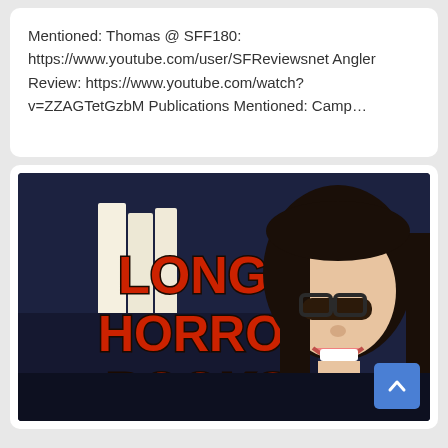Mentioned: Thomas @ SFF180: https://www.youtube.com/user/SFReviewsnet Angler Review: https://www.youtube.com/watch?v=ZZAGTetGzbM Publications Mentioned: Camp…
[Figure (photo): Thumbnail image of a woman with glasses smiling, holding or standing next to a sign that reads 'LONG HORROR BOOKS' in large red horror-style lettering on a dark blue background.]